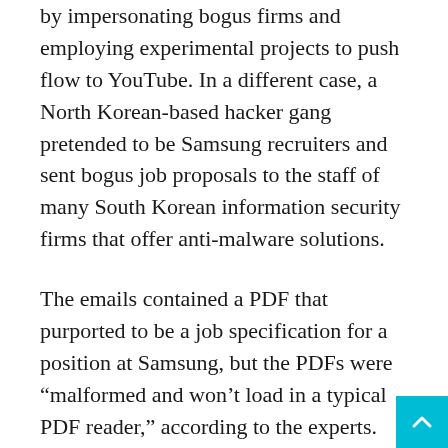by impersonating bogus firms and employing experimental projects to push flow to YouTube. In a different case, a North Korean-based hacker gang pretended to be Samsung recruiters and sent bogus job proposals to the staff of many South Korean information security firms that offer anti-malware solutions.
The emails contained a PDF that purported to be a job specification for a position at Samsung, but the PDFs were “malformed and won’t load in a typical PDF reader,” according to the experts. Once victims said they couldn’t access the job specification, threat actors sent them an infected attachment to malware posing as a ‘Secured PDF Reader’ in